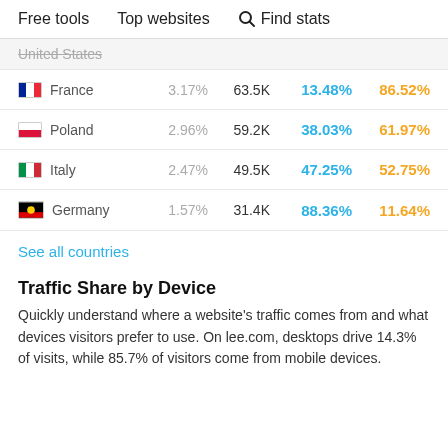Free tools   Top websites   🔍 Find stats
| Country | % Share | Visits | Desktop % | Mobile % |
| --- | --- | --- | --- | --- |
| United States |  |  |  |  |
| France | 3.17% | 63.5K | 13.48% | 86.52% |
| Poland | 2.96% | 59.2K | 38.03% | 61.97% |
| Italy | 2.47% | 49.5K | 47.25% | 52.75% |
| Germany | 1.57% | 31.4K | 88.36% | 11.64% |
See all countries
Traffic Share by Device
Quickly understand where a website's traffic comes from and what devices visitors prefer to use. On lee.com, desktops drive 14.3% of visits, while 85.7% of visitors come from mobile devices.